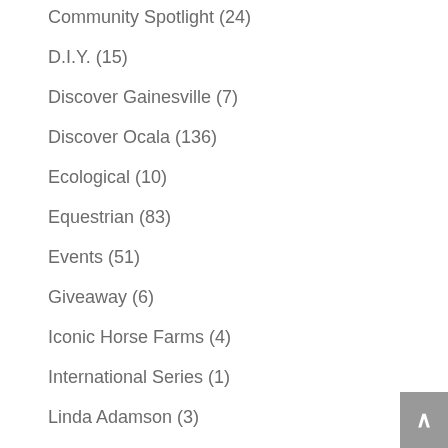Community Spotlight (24)
D.I.Y. (15)
Discover Gainesville (7)
Discover Ocala (136)
Ecological (10)
Equestrian (83)
Events (51)
Giveaway (6)
Iconic Horse Farms (4)
International Series (1)
Linda Adamson (3)
Local Resources (108)
Market Trends (27)
Neighborhood Spotlight (10)